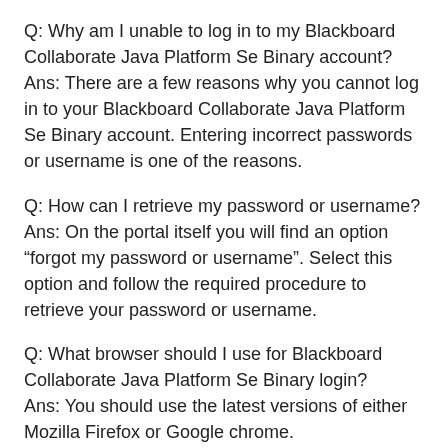Q: Why am I unable to log in to my Blackboard Collaborate Java Platform Se Binary account?
Ans: There are a few reasons why you cannot log in to your Blackboard Collaborate Java Platform Se Binary account. Entering incorrect passwords or username is one of the reasons.
Q: How can I retrieve my password or username?
Ans: On the portal itself you will find an option “forgot my password or username”. Select this option and follow the required procedure to retrieve your password or username.
Q: What browser should I use for Blackboard Collaborate Java Platform Se Binary login?
Ans: You should use the latest versions of either Mozilla Firefox or Google chrome.
Q: How can I retrieve my password or username?